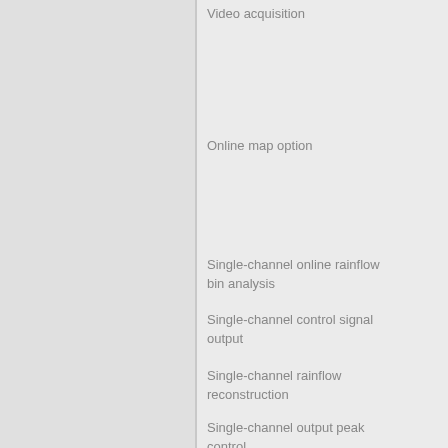Video acquisition
Online map option
Single-channel online rainflow bin analysis
Single-channel control signal output
Single-channel rainflow reconstruction
Single-channel output peak control